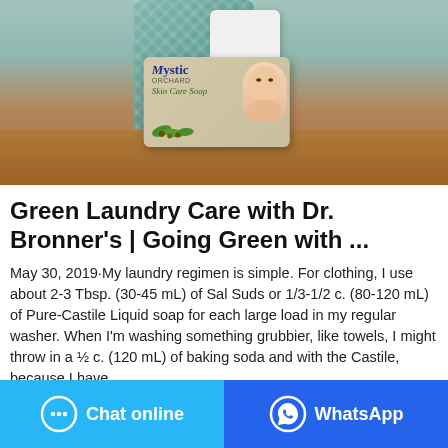[Figure (photo): Product photo: Mystic Orchard Skin Care Soap bar on a wooden surface, with a wicker basket and white towel in the background]
Green Laundry Care with Dr. Bronner's | Going Green with ...
May 30, 2019·My laundry regimen is simple. For clothing, I use about 2-3 Tbsp. (30-45 mL) of Sal Suds or 1/3-1/2 c. (80-120 mL) of Pure-Castile Liquid soap for each large load in my regular washer. When I'm washing something grubbier, like towels, I might throw in a ½ c. (120 mL) of baking soda and with the Castile, because I have …
[Figure (infographic): Chat online button (light blue) and WhatsApp button (dark blue) at the bottom of the page]